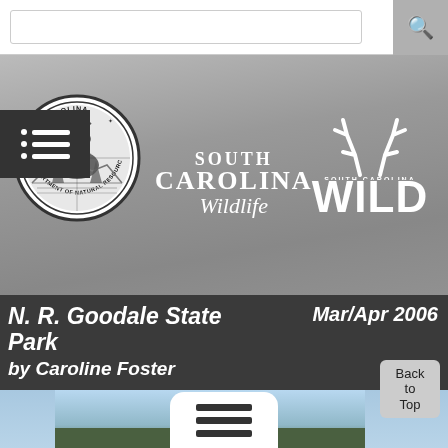Search bar and navigation menu for South Carolina Department of Natural Resources website
[Figure (screenshot): South Carolina Department of Natural Resources website screenshot showing the SCDNR seal, South Carolina Wildlife magazine logo, and South Carolina WILD logo on a grayscale background with menu and search bar at top]
N. R. Goodale State Park by Caroline Foster  Mar/Apr 2006
[Figure (photo): Partial view of a nature photo with blue sky, clouds, and trees, with a hamburger menu overlay button]